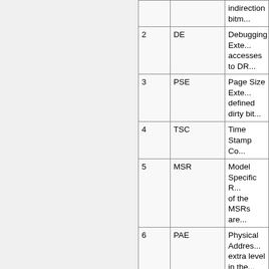| Bit | Name | Description |
| --- | --- | --- |
|  |  | indirection bitm... |
| 2 | DE | Debugging Exte... accesses to DR... |
| 3 | PSE | Page Size Exte... defined dirty bit... |
| 4 | TSC | Time Stamp Co... |
| 5 | MSR | Model Specific ... of the MSRs are... |
| 6 | PAE | Physical Addres... extra level in the... The actual num... |
| 7 | MCE | Machine Check... This feature doe... shutdowns. Mac... of the exception... |
| 8 | CX8 | CMPXCHG8B ... atomic). |
| 9 | APIC | APIC On-Chip. ... mapped comma... APIC to be relo... |
| 10 | - | Reserved |
| 11 | SEP | SYSENTER and... Memory Type R... memory types a... |
| 13 | PGE | PTE Global Bit... |